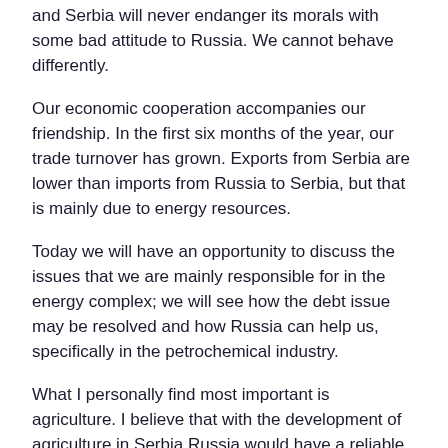and Serbia will never endanger its morals with some bad attitude to Russia. We cannot behave differently.
Our economic cooperation accompanies our friendship. In the first six months of the year, our trade turnover has grown. Exports from Serbia are lower than imports from Russia to Serbia, but that is mainly due to energy resources.
Today we will have an opportunity to discuss the issues that we are mainly responsible for in the energy complex; we will see how the debt issue may be resolved and how Russia can help us, specifically in the petrochemical industry.
What I personally find most important is agriculture. I believe that with the development of agriculture in Serbia Russia would have a reliable supply of such produce.
One again, welcome to Serbia, where both the authorities and the people are always happy to see you.